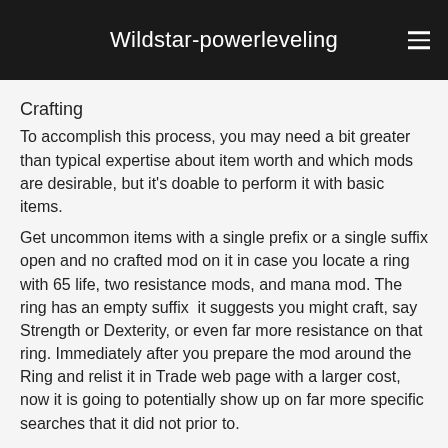Wildstar-powerleveling
Crafting
To accomplish this process, you may need a bit greater than typical expertise about item worth and which mods are desirable, but it's doable to perform it with basic items.
Get uncommon items with a single prefix or a single suffix open and no crafted mod on it in case you locate a ring with 65 life, two resistance mods, and mana mod. The ring has an empty suffix  it suggests you might craft, say Strength or Dexterity, or even far more resistance on that ring. Immediately after you prepare the mod around the Ring and relist it in Trade web page with a larger cost, now it is going to potentially show up on far more specific searches that it did not prior to.